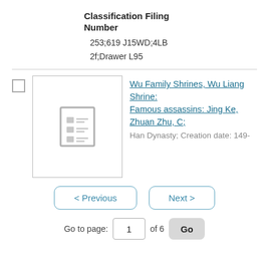Classification Filing Number
253;619 J15WD;4LB
2f;Drawer L95
[Figure (other): Thumbnail placeholder icon showing a document list/table icon in gray]
Wu Family Shrines, Wu Liang Shrine: Famous assassins: Jing Ke, Zhuan Zhu, C;
Han Dynasty; Creation date: 149-168
< Previous    Next >
Go to page: 1 of 6  Go